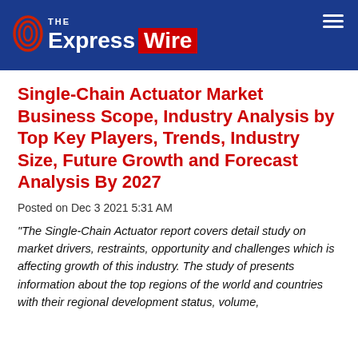The Express Wire
Single-Chain Actuator Market Business Scope, Industry Analysis by Top Key Players, Trends, Industry Size, Future Growth and Forecast Analysis By 2027
Posted on Dec 3 2021 5:31 AM
"The Single-Chain Actuator report covers detail study on market drivers, restraints, opportunity and challenges which is affecting growth of this industry. The study of presents information about the top regions of the world and countries with their regional development status, volume,